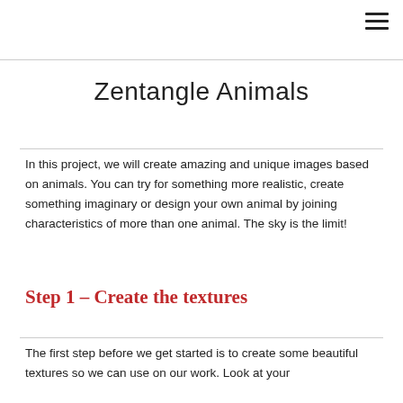Zentangle Animals
In this project, we will create amazing and unique images based on animals. You can try for something more realistic, create something imaginary or design your own animal by joining characteristics of more than one animal. The sky is the limit!
Step 1 – Create the textures
The first step before we get started is to create some beautiful textures so we can use on our work. Look at your